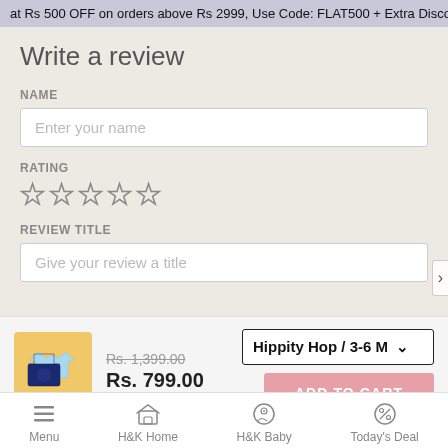at Rs 500 OFF on orders above Rs 2999, Use Code: FLAT500 + Extra Discou
Write a review
NAME
Enter your name
RATING
☆☆☆☆☆
REVIEW TITLE
Give your review a title
Rs. 1,399.00
Rs. 799.00
Hippity Hop / 3-6 M
ADD TO CART
Menu  H&K Home  H&K Baby  Today's Deal